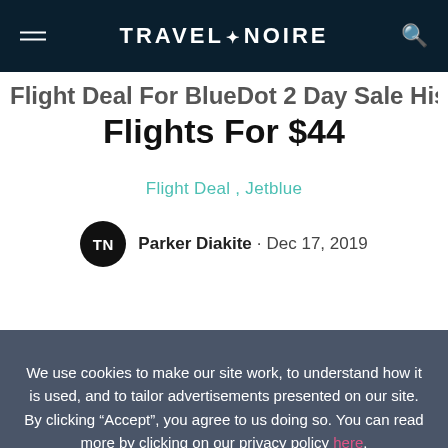TRAVEL+NOIRE
Flights For $44
Flight Deal , Jetblue
Parker Diakite · Dec 17, 2019
We use cookies to make our site work, to understand how it is used, and to tailor advertisements presented on our site. By clicking “Accept”, you agree to us doing so. You can read more by clicking on our privacy policy here.